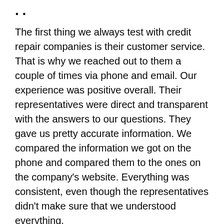...
The first thing we always test with credit repair companies is their customer service. That is why we reached out to them a couple of times via phone and email. Our experience was positive overall. Their representatives were direct and transparent with the answers to our questions. They gave us pretty accurate information. We compared the information we got on the phone and compared them to the ones on the company's website. Everything was consistent, even though the representatives didn't make sure that we understood everything.
Clients that do not understand how credit works can find additional education on